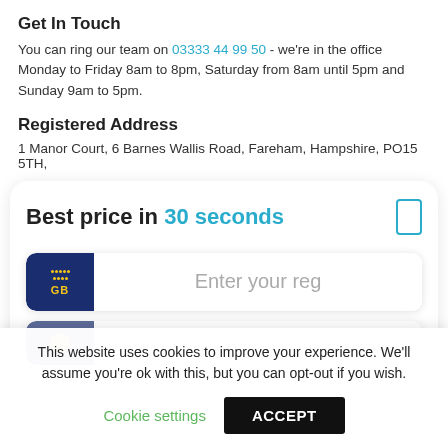Get In Touch
You can ring our team on 03333 44 99 50 - we're in the office Monday to Friday 8am to 8pm, Saturday from 8am until 5pm and Sunday 9am to 5pm.
Registered Address
1 Manor Court, 6 Barnes Wallis Road, Fareham, Hampshire, PO15 5TH,
[Figure (screenshot): Widget card with 'Best price in 30 seconds' heading, a phone icon, a UK number plate input field showing 'Enter your reg' placeholder with GB badge, and a second partially visible input row.]
This website uses cookies to improve your experience. We'll assume you're ok with this, but you can opt-out if you wish.
Cookie settings   ACCEPT